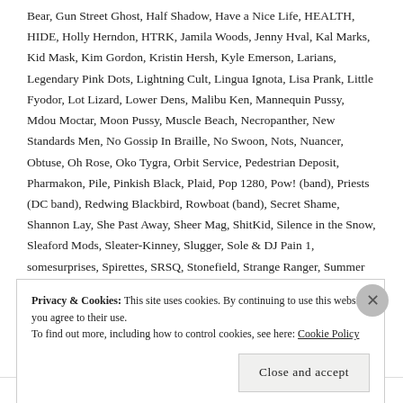Bear, Gun Street Ghost, Half Shadow, Have a Nice Life, HEALTH, HIDE, Holly Herndon, HTRK, Jamila Woods, Jenny Hval, Kal Marks, Kid Mask, Kim Gordon, Kristin Hersh, Kyle Emerson, Larians, Legendary Pink Dots, Lightning Cult, Lingua Ignota, Lisa Prank, Little Fyodor, Lot Lizard, Lower Dens, Malibu Ken, Mannequin Pussy, Mdou Moctar, Moon Pussy, Muscle Beach, Necropanther, New Standards Men, No Gossip In Braille, No Swoon, Nots, Nuancer, Obtuse, Oh Rose, Oko Tygra, Orbit Service, Pedestrian Deposit, Pharmakon, Pile, Pinkish Black, Plaid, Pop 1280, Pow! (band), Priests (DC band), Redwing Blackbird, Rowboat (band), Secret Shame, Shannon Lay, She Past Away, Sheer Mag, ShitKid, Silence in the Snow, Sleaford Mods, Sleater-Kinney, Slugger, Sole & DJ Pain 1, somesurprises, Spirettes, SRSQ, Stonefield, Strange Ranger, Summer Cannibals, Sunn, SunnO))), SWANS, Tacocat, Telefon Tel Aviv, The Coathangers, The Future Sound of London, The Hecks, The Ocean Blue, The Paranoyds,
Privacy & Cookies: This site uses cookies. By continuing to use this website, you agree to their use.
To find out more, including how to control cookies, see here: Cookie Policy
Close and accept